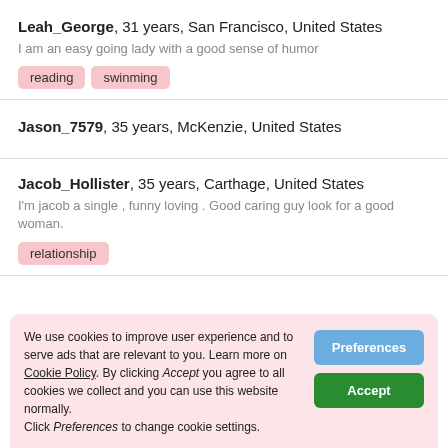Leah_George, 31 years, San Francisco, United States
I am an easy going lady with a good sense of humor
reading
swinming
Jason_7579, 35 years, McKenzie, United States
Jacob_Hollister, 35 years, Carthage, United States
I'm jacob a single , funny loving . Good caring guy look for a good woman.
relationship
We use cookies to improve user experience and to serve ads that are relevant to you. Learn more on Cookie Policy. By clicking Accept you agree to all cookies we collect and you can use this website normally. Click Preferences to change cookie settings.